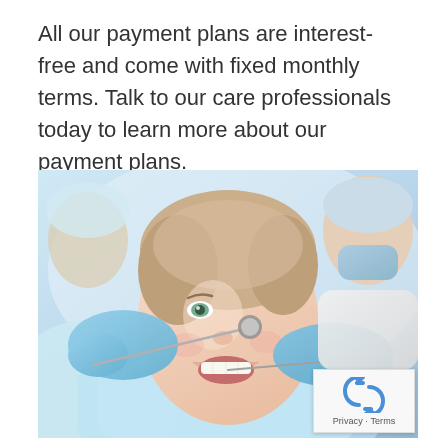All our payment plans are interest-free and come with fixed monthly terms. Talk to our care professionals today to learn more about our payment plans.
[Figure (photo): A smiling female dental patient with her mouth open being examined by two dental professionals wearing blue latex gloves, one holding a dental mirror and probe near her teeth.]
Privacy · Terms